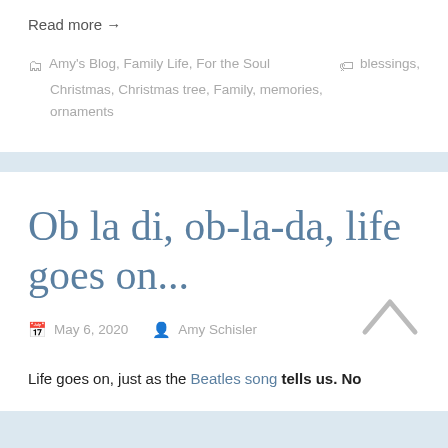Read more →
Amy's Blog, Family Life, For the Soul    blessings, Christmas, Christmas tree, Family, memories, ornaments
Ob la di, ob-la-da, life goes on...
May 6, 2020    Amy Schisler
Life goes on, just as the Beatles song tells us. No